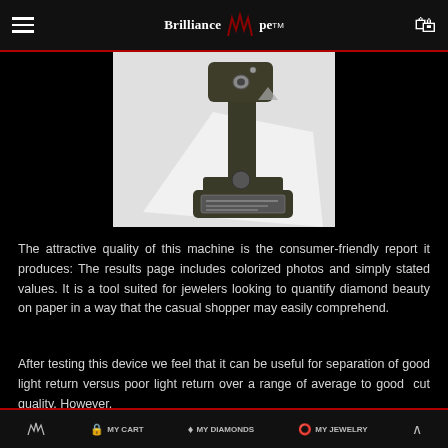Brilliance Scope TM — hamburger menu, logo, cart icon
[Figure (photo): A dark green/olive colored diamond analysis machine (BrillianceScope device) on a white surface, photographed at an angle showing the arm and base unit with a display panel]
The attractive quality of this machine is the consumer-friendly report it produces: The results page includes colorized photos and simply stated values. It is a tool suited for jewelers looking to quantify diamond beauty on paper in a way that the casual shopper may easily comprehend.
After testing this device we feel that it can be useful for separation of good light return versus poor light return over a range of average to good cut quality. However, when making comparisons among equivalent makes of the finest precision cut diamonds a fine-tuned result
WW logo | MY CART | MY DIAMONDS | MY JEWELRY | up arrow